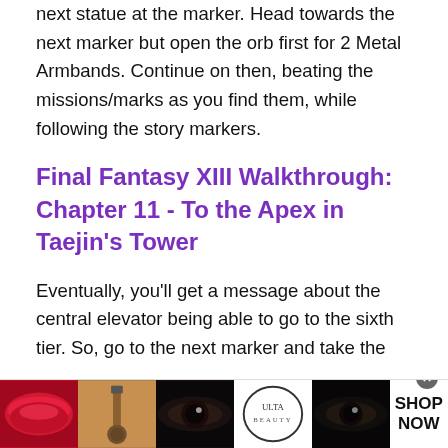next statue at the marker. Head towards the next marker but open the orb first for 2 Metal Armbands. Continue on then, beating the missions/marks as you find them, while following the story markers.
Final Fantasy XIII Walkthrough: Chapter 11 - To the Apex in Taejin's Tower
Eventually, you'll get a message about the central elevator being able to go to the sixth tier. So, go to the next marker and take the
[Figure (other): Advertisement banner for Ulta Beauty showing makeup imagery (lips, brush, eyes) with ULTA logo and 'SHOP NOW' text, with a close button]